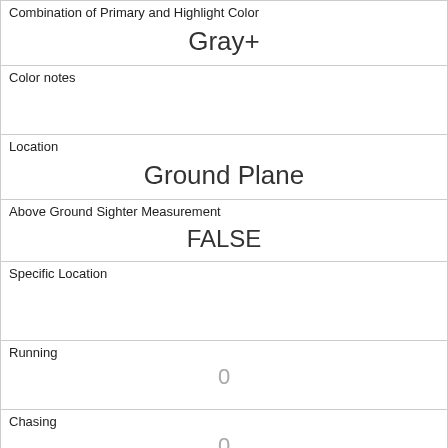| Combination of Primary and Highlight Color | Gray+ |
| Color notes |  |
| Location | Ground Plane |
| Above Ground Sighter Measurement | FALSE |
| Specific Location |  |
| Running | 0 |
| Chasing | 0 |
| Climbing | 0 |
| Eating | 0 |
| Foraging | 0 |